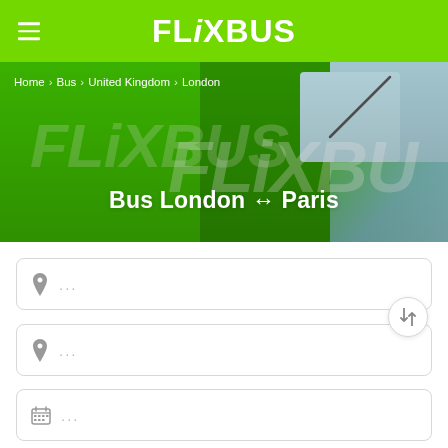FlixBus
[Figure (screenshot): FlixBus hero image showing a green FlixBus bus with breadcrumb navigation and route title 'Bus London ↔ Paris']
Bus London ↔ Paris
Home > Bus > United Kingdom > London
... (origin input field with pin icon)
... (destination input field with pin icon)
... (date input field with calendar icon)
(additional input field, partially visible)